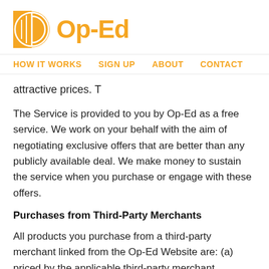[Figure (logo): Op-Ed logo with orange circle icon and orange bold text 'Op-Ed']
HOW IT WORKS   SIGN UP   ABOUT   CONTACT
attractive prices. T
The Service is provided to you by Op-Ed as a free service. We work on your behalf with the aim of negotiating exclusive offers that are better than any publicly available deal. We make money to sustain the service when you purchase or engage with these offers.
Purchases from Third-Party Merchants
All products you purchase from a third-party merchant linked from the Op-Ed Website are: (a) priced by the applicable third-party merchant (including but not limited to whether such prices include any additional fees, such as